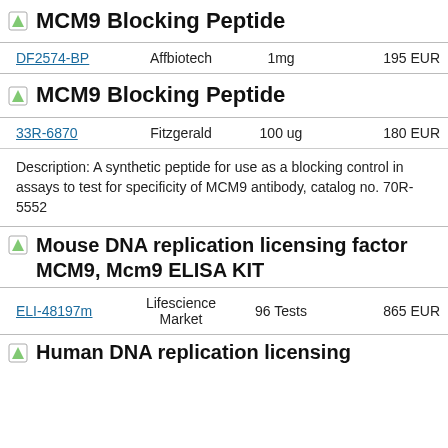MCM9 Blocking Peptide
| ID | Vendor | Quantity | Price |
| --- | --- | --- | --- |
| DF2574-BP | Affbiotech | 1mg | 195 EUR |
MCM9 Blocking Peptide
| ID | Vendor | Quantity | Price |
| --- | --- | --- | --- |
| 33R-6870 | Fitzgerald | 100 ug | 180 EUR |
Description: A synthetic peptide for use as a blocking control in assays to test for specificity of MCM9 antibody, catalog no. 70R-5552
Mouse DNA replication licensing factor MCM9, Mcm9 ELISA KIT
| ID | Vendor | Quantity | Price |
| --- | --- | --- | --- |
| ELI-48197m | Lifescience Market | 96 Tests | 865 EUR |
Human DNA replication licensing